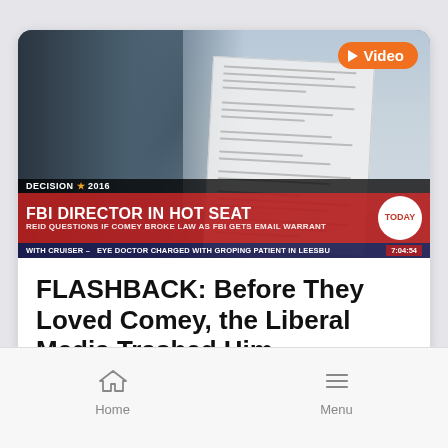[Figure (screenshot): News broadcast screenshot showing a man (FBI Director James Comey) in foreground with a document overlay and US Capitol dome in background. NBC Today show lower-third graphic reads: DECISION ★ 2016 / FBI DIRECTOR IN HOT SEAT / REID QUESTIONS IF COMEY BROKE LAW AS FBI GETS EMAIL WARRANT. Bottom crawl: WITH CRUISER - EYE DOCTOR CHARGED WITH GROPING PATIENT IN LEESBU 7:04:54. Orange video badge top-right.]
FLASHBACK: Before They Loved Comey, the Liberal Media Trashed Him
Home   Menu